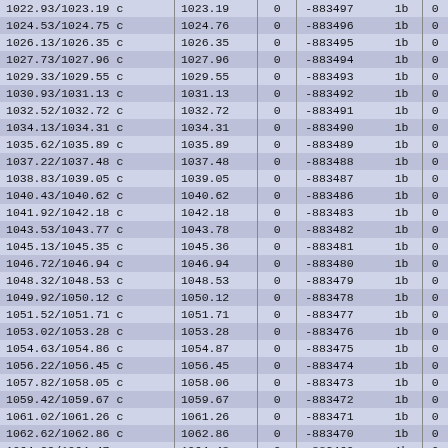| 1022.93/1023.19 c | 1023.19 | 0 | -883497 | 1b | 0 |
| 1024.53/1024.75 c | 1024.76 | 0 | -883496 | 1b | 0 |
| 1026.13/1026.35 c | 1026.35 | 0 | -883495 | 1b | 0 |
| 1027.73/1027.96 c | 1027.96 | 0 | -883494 | 1b | 0 |
| 1029.33/1029.55 c | 1029.55 | 0 | -883493 | 1b | 0 |
| 1030.93/1031.13 c | 1031.13 | 0 | -883492 | 1b | 0 |
| 1032.52/1032.72 c | 1032.72 | 0 | -883491 | 1b | 0 |
| 1034.13/1034.31 c | 1034.31 | 0 | -883490 | 1b | 0 |
| 1035.62/1035.89 c | 1035.89 | 0 | -883489 | 1b | 0 |
| 1037.22/1037.48 c | 1037.48 | 0 | -883488 | 1b | 0 |
| 1038.83/1039.05 c | 1039.05 | 0 | -883487 | 1b | 0 |
| 1040.43/1040.62 c | 1040.62 | 0 | -883486 | 1b | 0 |
| 1041.92/1042.18 c | 1042.18 | 0 | -883483 | 1b | 0 |
| 1043.53/1043.77 c | 1043.78 | 0 | -883482 | 1b | 0 |
| 1045.13/1045.35 c | 1045.36 | 0 | -883481 | 1b | 0 |
| 1046.72/1046.94 c | 1046.94 | 0 | -883480 | 1b | 0 |
| 1048.32/1048.53 c | 1048.53 | 0 | -883479 | 1b | 0 |
| 1049.92/1050.12 c | 1050.12 | 0 | -883478 | 1b | 0 |
| 1051.52/1051.71 c | 1051.71 | 0 | -883477 | 1b | 0 |
| 1053.02/1053.28 c | 1053.28 | 0 | -883476 | 1b | 0 |
| 1054.63/1054.86 c | 1054.87 | 0 | -883475 | 1b | 0 |
| 1056.22/1056.45 c | 1056.45 | 0 | -883474 | 1b | 0 |
| 1057.82/1058.05 c | 1058.06 | 0 | -883473 | 1b | 0 |
| 1059.42/1059.67 c | 1059.67 | 0 | -883472 | 1b | 0 |
| 1061.02/1061.26 c | 1061.26 | 0 | -883471 | 1b | 0 |
| 1062.62/1062.86 c | 1062.86 | 0 | -883470 | 1b | 0 |
| 1064.22/1064.47 c | 1064.48 | 0 | -883469 | 1b | 0 |
| 1065.82/1066.09 c | 1066.09 | 0 | -883468 | 1b | 0 |
| 1067.42/1067.69 c | 1067.69 | 0 | -883467 | 1b | 0 |
| 1069.03/1069.29 c | 1069.29 | 0 | -883466 | 1b | 0 |
| 1070.72/1070.92 c | 1070.92 | 0 | -883465 | 1b | 0 |
| 1072.32/1072.53 c | 1072.54 | 0 | -883464 | 1b | 0 |
| 1073.92/1074.15 c | 1074.16 | 0 | -883463 | 1b | 0 |